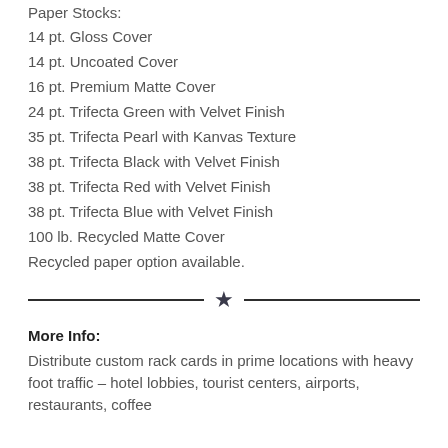Paper Stocks:
14 pt. Gloss Cover
14 pt. Uncoated Cover
16 pt. Premium Matte Cover
24 pt. Trifecta Green with Velvet Finish
35 pt. Trifecta Pearl with Kanvas Texture
38 pt. Trifecta Black with Velvet Finish
38 pt. Trifecta Red with Velvet Finish
38 pt. Trifecta Blue with Velvet Finish
100 lb. Recycled Matte Cover
Recycled paper option available.
[Figure (illustration): Horizontal divider with a star in the center]
More Info:
Distribute custom rack cards in prime locations with heavy foot traffic – hotel lobbies, tourist centers, airports, restaurants, coffee